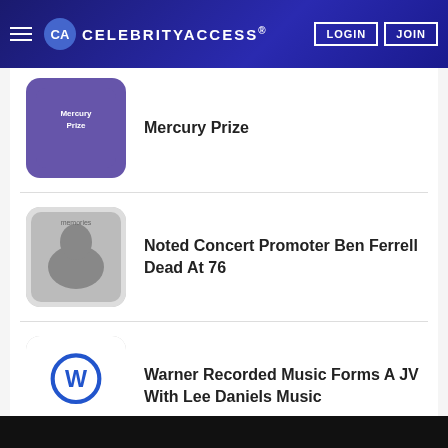CELEBRITYACCESS
Mercury Prize
Noted Concert Promoter Ben Ferrell Dead At 76
Warner Recorded Music Forms A JV With Lee Daniels Music
The Red Hot Chili Peppers To Receive The Global Icon Award At The VMAs
ASCAP To Host Virtual Coming Hip-Hop An...
[Figure (photo): Popup overlay showing a woman in a pink dress at a red carpet event, with a close (X) button]